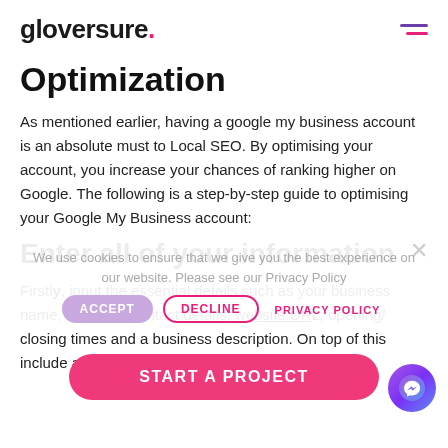gloversure.
Optimization
As mentioned earlier, having a google my business account is an absolute must to Local SEO. By optimising your account, you increase your chances of ranking higher on Google. The following is a step-by-step guide to optimising your Google My Business account:
Enter all of your information
Firstly, input the essential details such as your business name, category, contact details, website URL, opening/ closing times and a business description. On top of this include additional information, such as attributes
We use cookies to ensure that we give you the best experience on our website. Please see our Privacy Policy
ACCEPT   DECLINE   PRIVACY POLICY
START A PROJECT